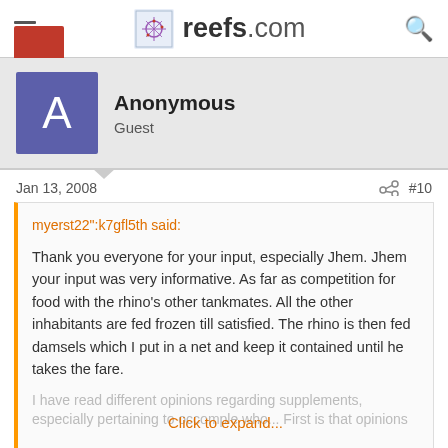reefs.com
Anonymous
Guest
Jan 13, 2008   #10
myerst22":k7gfl5th said:

Thank you everyone for your input, especially Jhem. Jhem your input was very informative. As far as competition for food with the rhino's other tankmates. All the other inhabitants are fed frozen till satisfied. The rhino is then fed damsels which I put in a net and keep it contained until he takes the fare.

I have read different opinions regarding supplements, especially pertaining tooc... Click to expand...
Tim, are you sure that it's that they don't digest any fats (lipids)